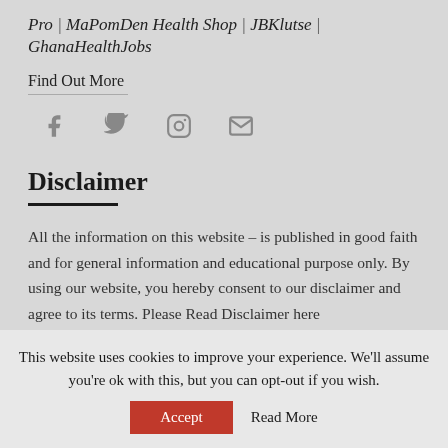Pro | MaPomDen Health Shop | JBKlutse | GhanaHealthJobs
Find Out More
[Figure (other): Social media icons: Facebook, Twitter, Instagram, Email]
Disclaimer
All the information on this website – is published in good faith and for general information and educational purpose only. By using our website, you hereby consent to our disclaimer and agree to its terms. Please Read Disclaimer here
This website uses cookies to improve your experience. We'll assume you're ok with this, but you can opt-out if you wish.
Accept  Read More